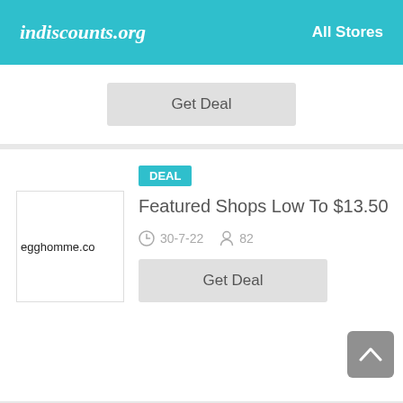indiscounts.org  All Stores
Get Deal
[Figure (screenshot): Deal card for egghomme.com: DEAL badge, title 'Featured Shops Low To $13.50', date 30-7-22, 82 users, Get Deal button]
DEAL
Featured Shops Low To $13.50
30-7-22  82
Get Deal
DEAL
Up To 50% On Almost Naked